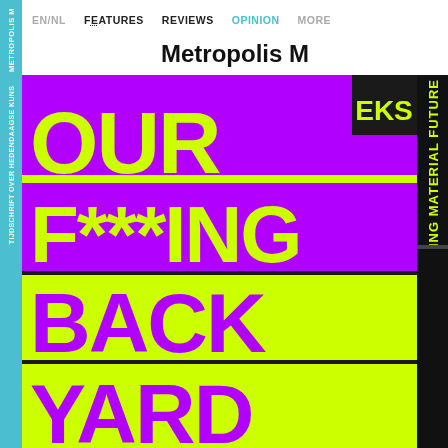METROPOLIS M  TIJDSCHRIFT OVER HEDENDAAGSE KUNST
EN/NL  FEATURES  REVIEWS  OPINION  MORE
Metropolis M
[Figure (illustration): Metropolis M magazine cover: bright yellow-green background with large purple text blocks reading 'OUR / F***ING / BACK / YARD'. Right side has vertical black bar with yellow text 'ING MATERIAL FUTURE'. Top right corner has 'EKS' in a black square. The cover uses bold graphic typography in contrasting purple and yellow-green colors.]